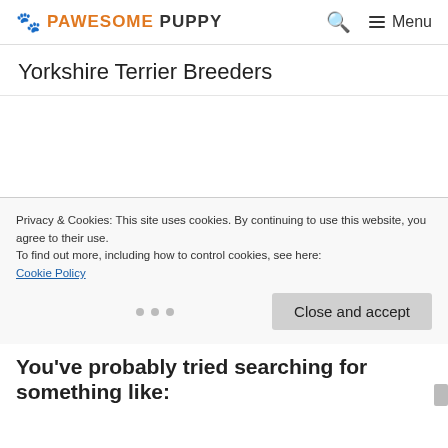PAWESOME PUPPY — Menu
Yorkshire Terrier Breeders
Privacy & Cookies: This site uses cookies. By continuing to use this website, you agree to their use.
To find out more, including how to control cookies, see here:
Cookie Policy
You've probably tried searching for something like: